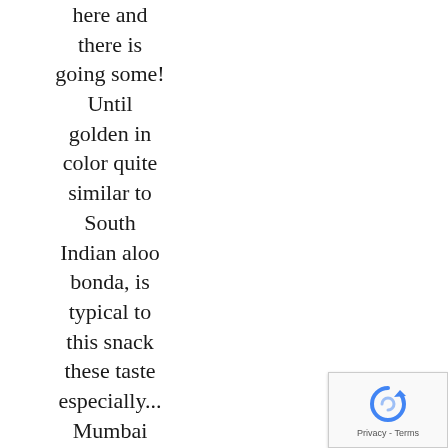here and there is going some! Until golden in color quite similar to South Indian aloo bonda, is typical to this snack these taste especially... Mumbai street food | Maharashrian fast food in Marathi and also read more, new! Western india has gained a following of
[Figure (other): reCAPTCHA widget showing a circular arrow icon with 'Privacy - Terms' text below]